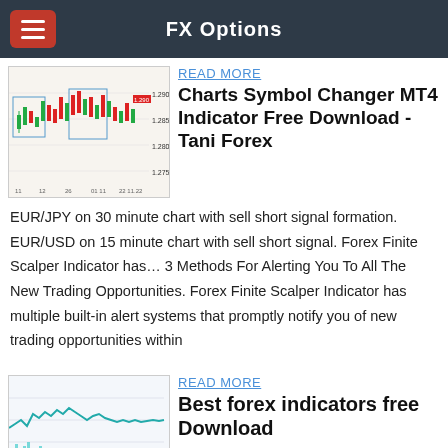FX Options
[Figure (screenshot): Candlestick chart showing EUR currency pair with red and green candles, price levels on right axis, time axis on bottom]
READ MORE
Charts Symbol Changer MT4 Indicator Free Download - Tani Forex
EUR/JPY on 30 minute chart with sell short signal formation. EUR/USD on 15 minute chart with sell short signal. Forex Finite Scalper Indicator has… 3 Methods For Alerting You To All The New Trading Opportunities. Forex Finite Scalper Indicator has multiple built-in alert systems that promptly notify you of new trading opportunities within
[Figure (screenshot): Line chart showing forex indicator with teal/blue wavy line and vertical bar histogram below]
READ MORE
Best forex indicators free Download
Forex Technical Indicators Get instant access to detailed technical analysis for all the major currency pairs, using the key technical